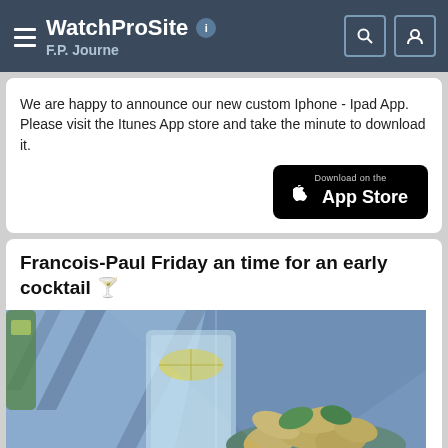WatchProSite — F.P. Journe
We are happy to announce our new custom Iphone - Ipad App. Please visit the Itunes App store and take the minute to download it.
[Figure (logo): Download on the App Store button (black background, Apple logo)]
Francois-Paul Friday an time for an early cocktail 🍸
[Figure (photo): Photo of cocktail drinks with lemon slice in a glass and a bowl of chips/snacks on a blue table outdoors]